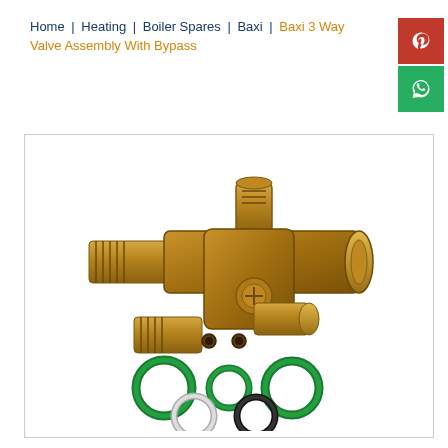Home | Heating | Boiler Spares | Baxi | Baxi 3 Way Valve Assembly With Bypass
[Figure (photo): Baxi 3 Way Valve Assembly With Bypass — brass valve body with multiple threaded ports and hose connections, shown with a set of 5 O-ring seals (three green, one white, one black) below it]